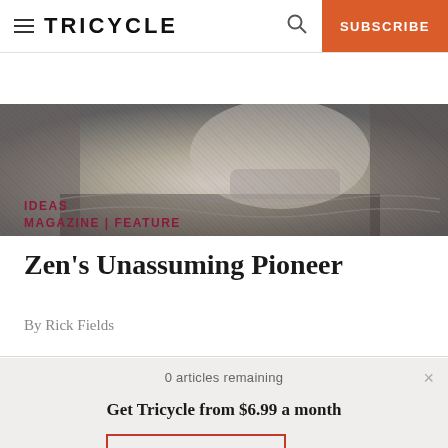TRICYCLE  SUBSCRIBE
[Figure (photo): Black and white close-up photograph of a person's face, partially visible, wearing a patterned garment]
IDEAS
MAGAZINE | FEATURE
Zen's Unassuming Pioneer
By Rick Fields
0 articles remaining
Get Tricycle from $6.99 a month
SUBSCRIBE NOW  Log In